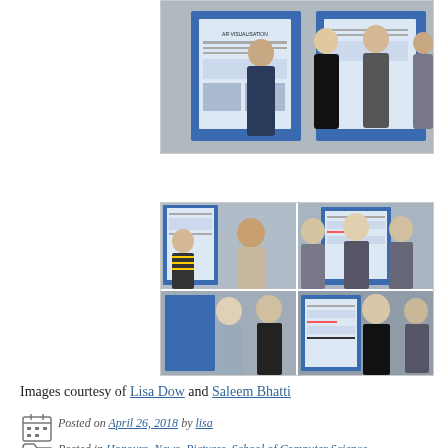[Figure (photo): Group photo of students standing in front of a poster board at a poster exhibition event]
[Figure (photo): Collage of four photos from a student poster exhibition showing groups of students presenting and viewing posters on blue boards]
Images courtesy of Lisa Dow and Saleem Bhatti
Posted on April 26, 2018 by lisa
Posted in Honours, News, Pictures, School of Computer Science
Tagged demo, posters, software